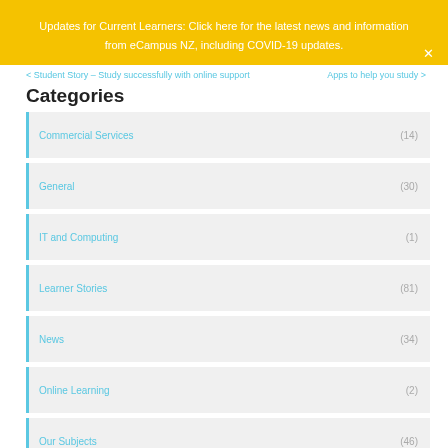Updates for Current Learners: Click here for the latest news and information from eCampus NZ, including COVID-19 updates.
< Student Story – Study successfully with online support
Apps to help you study >
Categories
Commercial Services (14)
General (30)
IT and Computing (1)
Learner Stories (81)
News (34)
Online Learning (2)
Our Subjects (46)
Project Management (1)